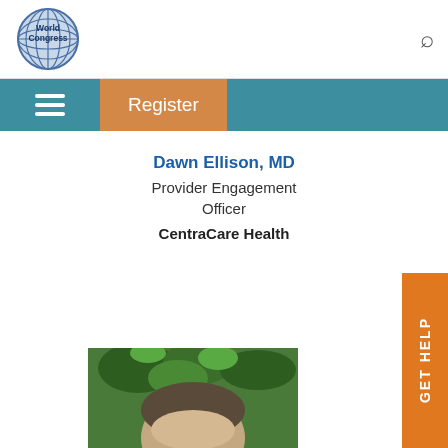[Figure (logo): World Congress globe logo with text 'World Congress']
Register
Dawn Ellison, MD
Provider Engagement Officer
CentraCare Health
[Figure (photo): Partial photo of a person outdoors with trees in background, cropped at bottom of page]